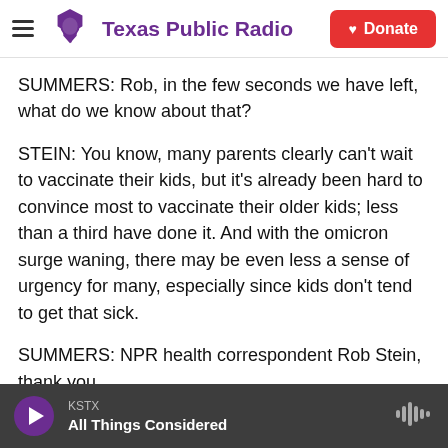Texas Public Radio | Donate
SUMMERS: Rob, in the few seconds we have left, what do we know about that?
STEIN: You know, many parents clearly can't wait to vaccinate their kids, but it's already been hard to convince most to vaccinate their older kids; less than a third have done it. And with the omicron surge waning, there may be even less a sense of urgency for many, especially since kids don't tend to get that sick.
SUMMERS: NPR health correspondent Rob Stein, thank you.
KSTX | All Things Considered